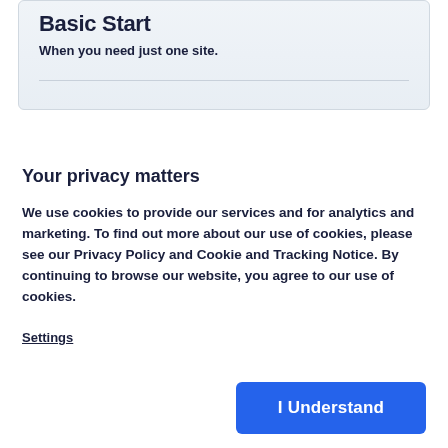Basic Start
When you need just one site.
Your privacy matters
We use cookies to provide our services and for analytics and marketing. To find out more about our use of cookies, please see our Privacy Policy and Cookie and Tracking Notice. By continuing to browse our website, you agree to our use of cookies.
Settings
I Understand